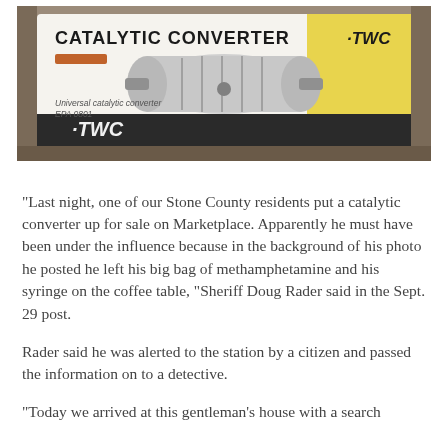[Figure (photo): Photo of a catalytic converter product box. The box shows 'CATALYTIC CONVERTER TWC' branding with an image of the converter unit. It reads 'Universal catalytic converter EPA 0801' and has a yellow and white color scheme with TWC logo on the front.]
“Last night, one of our Stone County residents put a catalytic converter up for sale on Marketplace. Apparently he must have been under the influence because in the background of his photo he posted he left his big bag of methamphetamine and his syringe on the coffee table, “Sheriff Doug Rader said in the Sept. 29 post.
Rader said he was alerted to the station by a citizen and passed the information on to a detective.
“Today we arrived at this gentleman’s house with a search